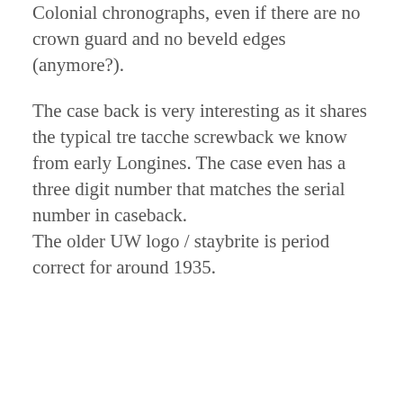Colonial chronographs, even if there are no crown guard and no beveld edges (anymore?).
The case back is very interesting as it shares the typical tre tacche screwback we know from early Longines. The case even has a three digit number that matches the serial number in caseback. The older UW logo / staybrite is period correct for around 1935.